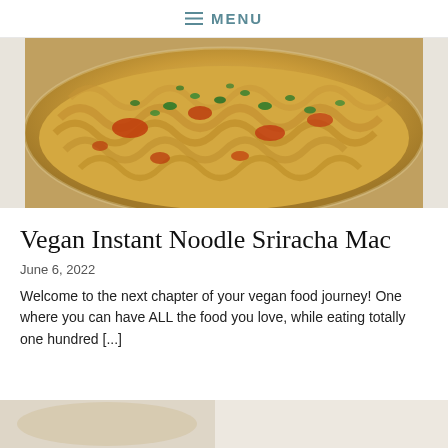≡ MENU
[Figure (photo): Close-up photo of vegan instant noodle sriracha mac in a bowl — golden noodles with red sriracha sauce drizzled on top and fresh green herbs (parsley/cilantro) scattered throughout, on a white plate]
Vegan Instant Noodle Sriracha Mac
June 6, 2022
Welcome to the next chapter of your vegan food journey! One where you can have ALL the food you love, while eating totally one hundred [...]
[Figure (photo): Partially visible next article preview image at bottom of page, appears to be a food photo]